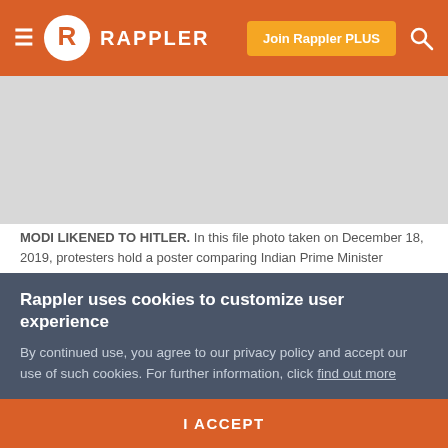Rappler
[Figure (photo): Gray placeholder area representing a news article image]
MODI LIKENED TO HITLER. In this file photo taken on December 18, 2019, protesters hold a poster comparing Indian Prime Minister Narendra Modi to German chancellor and Nazi Party leader Adolf Hitler at a demonstration against India's new citizenship law in Siliguri. Photo by Diptendu Dutta/AFP
NEW DELHI, India – From Netflix to Hitler, protesters are
Rappler uses cookies to customize user experience
By continued use, you agree to our privacy policy and accept our use of such cookies. For further information, click find out more
I ACCEPT